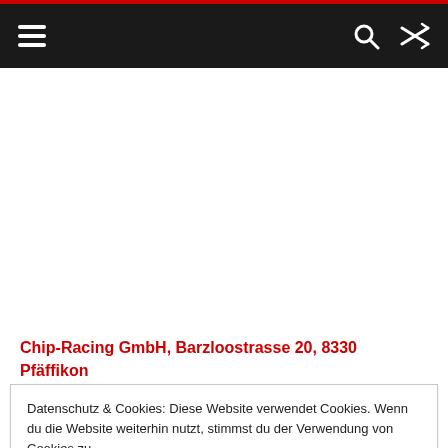≡  🔍  ⇌
Chip-Racing GmbH, Barzloostrasse 20, 8330 Pfäffikon
+41 (0)43 497 76 31
Datenschutz & Cookies: Diese Website verwendet Cookies. Wenn du die Website weiterhin nutzt, stimmst du der Verwendung von Cookies zu.
Weitere Informationen, beispielsweise zur Kontrolle von Cookies, findest du hier: Cookie-Richtlinie
Schließen und akzeptieren